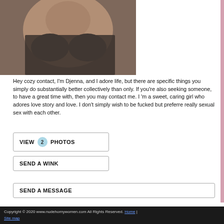[Figure (photo): Woman in black bra, cropped close-up photo]
Hey cozy contact, I'm Djenna, and I adore life, but there are specific things you simply do substantially better collectively than only. If you're also seeking someone, to have a great time with, then you may contact me. I 'm a sweet, caring girl who adores love story and love. I don't simply wish to be fucked but preferre really sexual sex with each other.
VIEW 2 PHOTOS
SEND A WINK
SEND A MESSAGE
Copyright © 2020 www.nudehornywomen.com All Rights Reserved. Home | Site map